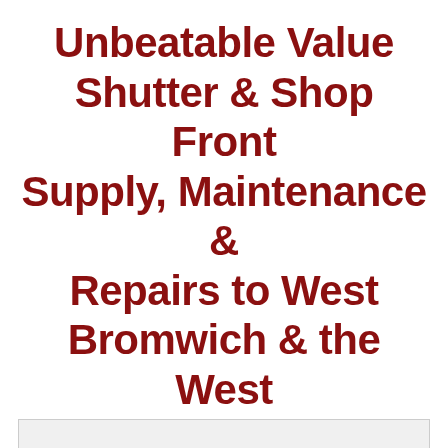Unbeatable Value Shutter & Shop Front Supply, Maintenance & Repairs to West Bromwich & the West Midlands